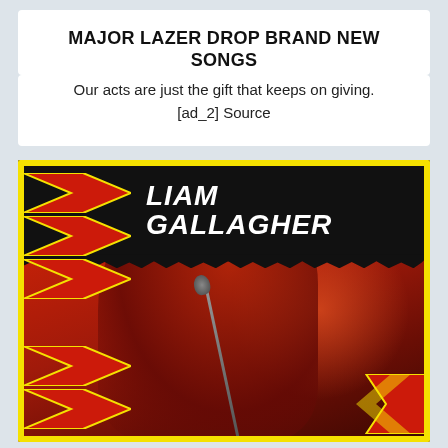MAJOR LAZER DROP BRAND NEW SONGS
Our acts are just the gift that keeps on giving. [ad_2] Source
[Figure (photo): Promotional card for Liam Gallagher featuring artist name in bold white text on black banner with red chevron arrows on yellow background, overlaying a red-tinted concert performance photo of a male vocalist at a microphone.]